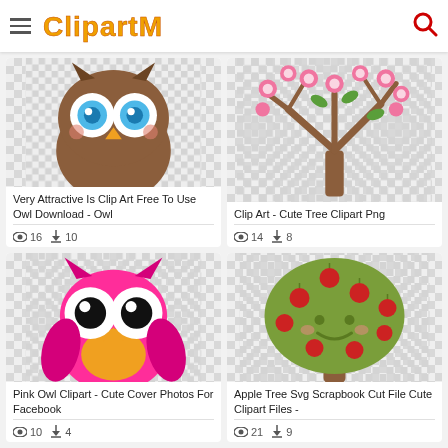ClipartMax
[Figure (illustration): Brown cartoon owl face with blue eyes on checkered transparent background]
Very Attractive Is Clip Art Free To Use Owl Download - Owl
👁 16  ⬇ 10
[Figure (illustration): Cute tree with pink flowers and brown branches on checkered background]
Clip Art - Cute Tree Clipart Png
👁 14  ⬇ 8
[Figure (illustration): Pink cartoon owl with big eyes on checkered transparent background]
Pink Owl Clipart - Cute Cover Photos For Facebook
👁 10  ⬇ 4
[Figure (illustration): Cute apple tree with red apples and kawaii face on checkered background]
Apple Tree Svg Scrapbook Cut File Cute Clipart Files -
👁 21  ⬇ 9